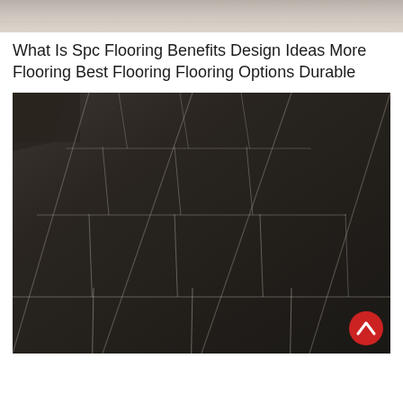[Figure (photo): Top banner image showing a light textured surface, appears to be a ceiling or flooring material in gray/beige tones]
What Is Spc Flooring Benefits Design Ideas More Flooring Best Flooring Flooring Options Durable
[Figure (photo): Photograph of decorative SPC flooring tiles arranged on a floor, viewed from an angle. The tiles are white/off-white with a repeating floral/geometric pattern in gray, dark charcoal/teal, and copper/brown colors. The pattern features a four-petal flower motif with a dark rounded square connector element at tile corners. A red circular scroll-to-top button with a white chevron is visible in the bottom-right corner.]